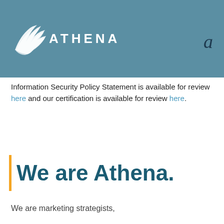[Figure (logo): Athena logo with white feather/wing icon and ATHENA text in white on teal background, with a small italic 'a' on the right]
Information Security Policy Statement is available for review here and our certification is available for review here.
We are Athena.
We are marketing strategists,